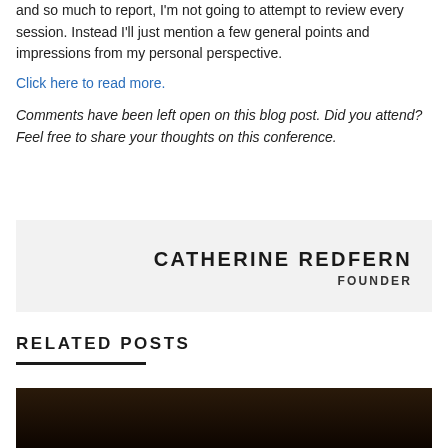and so much to report, I'm not going to attempt to review every session. Instead I'll just mention a few general points and impressions from my personal perspective.
Click here to read more.
Comments have been left open on this blog post. Did you attend? Feel free to share your thoughts on this conference.
CATHERINE REDFERN
FOUNDER
RELATED POSTS
[Figure (photo): Dark photograph, appears to be a low-light image at the bottom of the page]